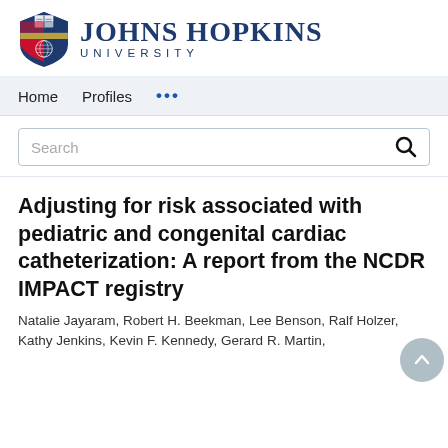[Figure (logo): Johns Hopkins University logo with shield and text]
Home   Profiles   ...
Search
Adjusting for risk associated with pediatric and congenital cardiac catheterization: A report from the NCDR IMPACT registry
Natalie Jayaram, Robert H. Beekman, Lee Benson, Ralf Holzer, Kathy Jenkins, Kevin F. Kennedy, Gerard R. Martin,